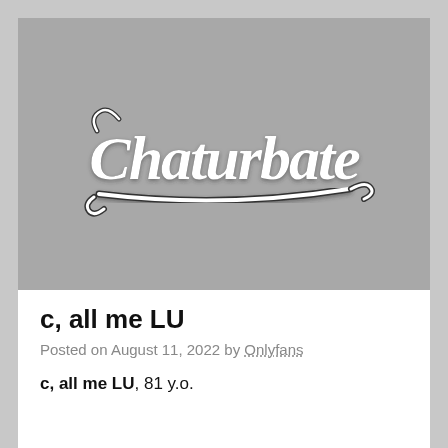[Figure (logo): Chaturbate logo on a grey background — script lettering in white with dark outline]
c, all me LU
Posted on August 11, 2022 by Onlyfans
c, all me LU, 81 y.o.